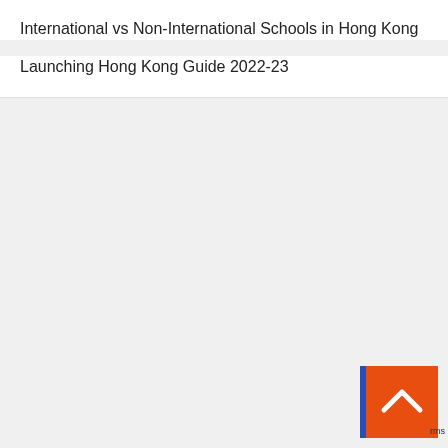International vs Non-International Schools in Hong Kong
Launching Hong Kong Guide 2022-23
[Figure (other): Orange back-to-top button with upward chevron arrow, and a blue vertical strip beside it]